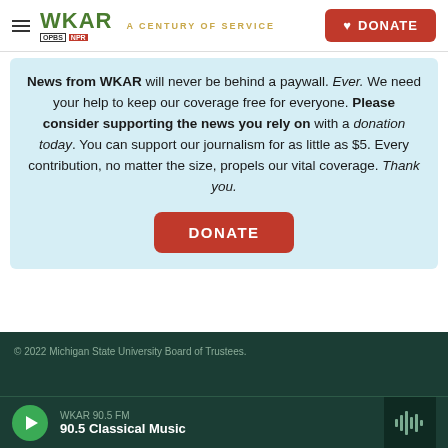WKAR A CENTURY OF SERVICE | DONATE
News from WKAR will never be behind a paywall. Ever. We need your help to keep our coverage free for everyone. Please consider supporting the news you rely on with a donation today. You can support our journalism for as little as $5. Every contribution, no matter the size, propels our vital coverage. Thank you.
© 2022 Michigan State University Board of Trustees. WKAR 90.5 FM - 90.5 Classical Music